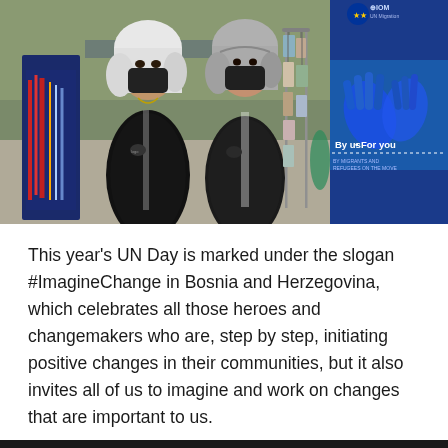[Figure (photo): Two women wearing black hijabs and black face masks standing at an outdoor event booth. They are dressed in matching black jackets with logo patches. Behind them is a clothing rack with hanging bags. On the right side is an IOM UN Migration banner showing blue painted hands with text 'By us · For you'. A colorful vertical banner is visible on the left. The scene appears to be an outdoor fair or event.]
This year's UN Day is marked under the slogan #ImagineChange in Bosnia and Herzegovina, which celebrates all those heroes and changemakers who are, step by step, initiating positive changes in their communities, but it also invites all of us to imagine and work on changes that are important to us.